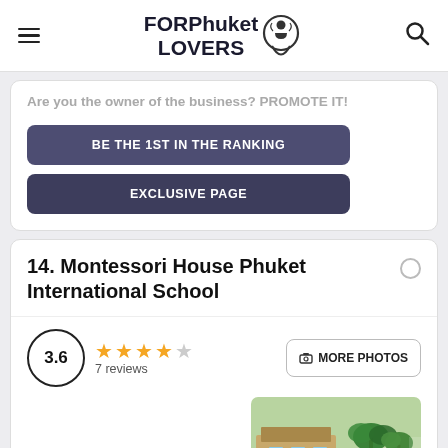FORPhuket LOVERS
Are you the owner of the business? PROMOTE IT!
BE THE 1ST IN THE RANKING
EXCLUSIVE PAGE
14. Montessori House Phuket International School
3.6 — 7 reviews
MORE PHOTOS
Prices